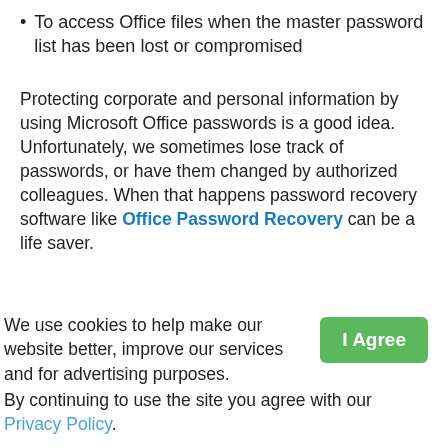To access Office files when the master password list has been lost or compromised
Protecting corporate and personal information by using Microsoft Office passwords is a good idea.  Unfortunately, we sometimes lose track of passwords, or have them changed by authorized colleagues. When that happens password recovery software like Office Password Recovery can be a life saver.
We use cookies to help make our website better, improve our services and for advertising purposes.
By continuing to use the site you agree with our Privacy Policy.